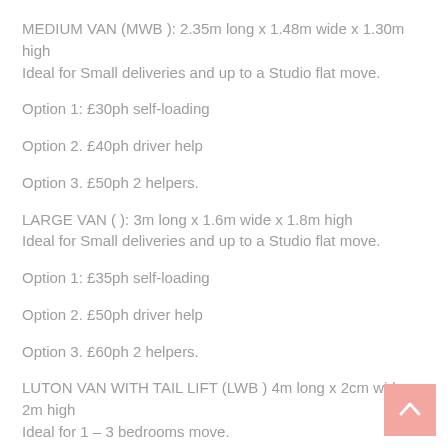MEDIUM VAN (MWB ): 2.35m long x 1.48m wide x 1.30m high
Ideal for Small deliveries and up to a Studio flat move.
Option 1: £30ph self-loading
Option 2. £40ph driver help
Option 3. £50ph 2 helpers.
LARGE VAN ( ): 3m long x 1.6m wide x 1.8m high
Ideal for Small deliveries and up to a Studio flat move.
Option 1: £35ph self-loading
Option 2. £50ph driver help
Option 3. £60ph 2 helpers.
LUTON VAN WITH TAIL LIFT (LWB ) 4m long x 2cm wide x 2m high
Ideal for 1 – 3 bedrooms move.
Option 1. £45ph Selfload/unload
Option 2. £55ph driver helping
Option 3. £70ph 2 helpers + van.